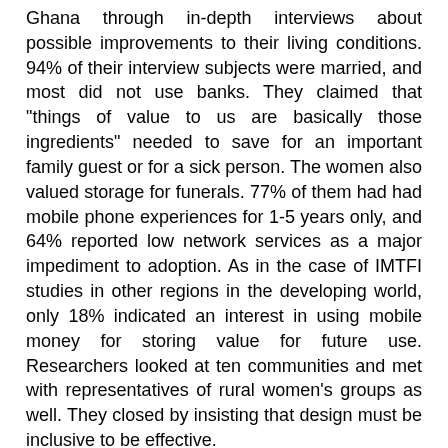Ghana through in-depth interviews about possible improvements to their living conditions. 94% of their interview subjects were married, and most did not use banks. They claimed that "things of value to us are basically those ingredients" needed to save for an important family guest or for a sick person. The women also valued storage for funerals. 77% of them had had mobile phone experiences for 1-5 years only, and 64% reported low network services as a major impediment to adoption. As in the case of IMTFI studies in other regions in the developing world, only 18% indicated an interest in using mobile money for storing value for future use. Researchers looked at ten communities and met with representatives of rural women's groups as well. They closed by insisting that design must be inclusive to be effective.
Discussant Elizabeth Berthe of Mercy Corps reiterated the themes around relevance and the importance of social networks, and the question and answer session raised issues about how commercialization might actually sometimes undermine women's position and how comprehensive research might be stymied by the fact that